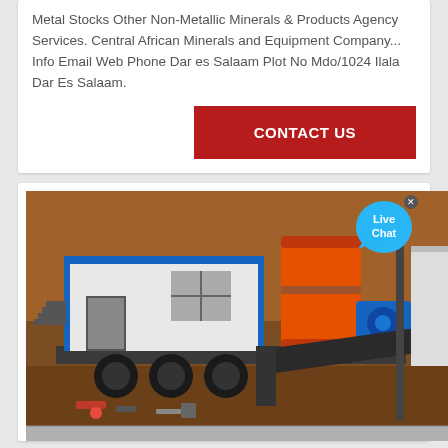Metal Stocks Other Non-Metallic Minerals & Products Agency Services. Central African Minerals and Equipment Company... Info Email Web Phone Dar es Salaam Plot No Mdo/1024 Ilala Dar Es Salaam.
CONTACT US
[Figure (photo): Industrial mining equipment scene showing a prefabricated white and blue portable site office/cabin on a flatbed trailer, an orange cylindrical tank or drum unit in the center, a blue electric motor, dark metal chute/conveyor equipment below, and a partial view of another white structure on the right. The background shows a reddish-brown earthen embankment. Various debris and equipment parts are scattered on the ground.]